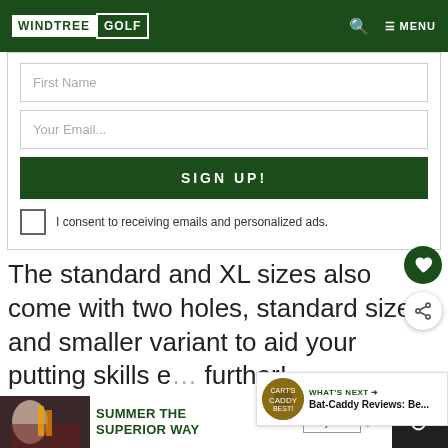WINDTREE GOLF — MENU
[Figure (screenshot): Sign-up form with First Name field, Your Email field, SIGN UP! button, and consent checkbox]
The standard and XL sizes also come with two holes, standard size, and smaller variant to aid your putting skills e... further!
[Figure (screenshot): What's Next promo banner: Bat-Caddy Reviews: Be...]
[Figure (screenshot): Advertisement banner: SUMMER THE SUPERIOR WAY, Buy Now button]